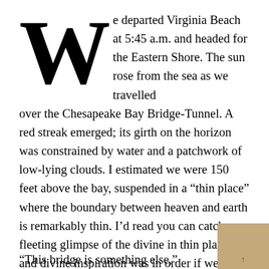We departed Virginia Beach at 5:45 a.m. and headed for the Eastern Shore. The sun rose from the sea as we travelled over the Chesapeake Bay Bridge-Tunnel. A red streak emerged; its girth on the horizon was constrained by water and a patchwork of low-lying clouds. I estimated we were 150 feet above the bay, suspended in a “thin place” where the boundary between heaven and earth is remarkably thin. I’d read you can catch a fleeting glimpse of the divine in thin places, and divine inspiration was in order if we were to see—or catch—a tarpon in Virginia. “This bridge is something else,”